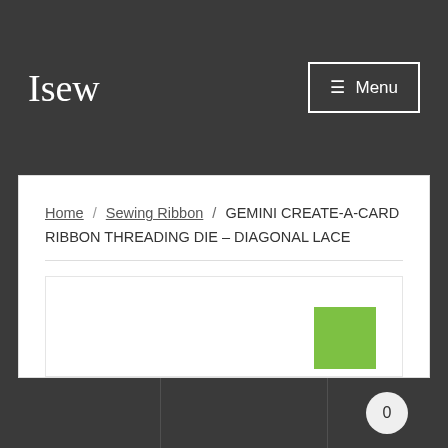Isew
Home › Sewing Ribbon › GEMINI CREATE-A-CARD RIBBON THREADING DIE – DIAGONAL LACE
[Figure (other): Product image area with a green badge/label in the upper right corner. The product image area is mostly white/empty in this view.]